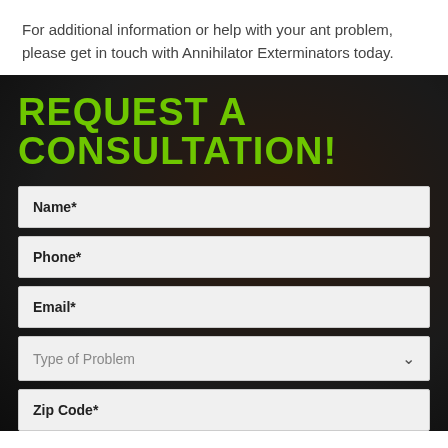For additional information or help with your ant problem, please get in touch with Annihilator Exterminators today.
REQUEST A CONSULTATION!
Name*
Phone*
Email*
Type of Problem
Zip Code*